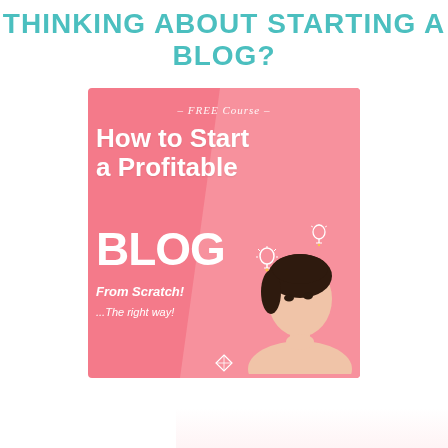THINKING ABOUT STARTING A BLOG?
[Figure (illustration): Promotional banner for a FREE Course titled 'How to Start a Profitable BLOG From Scratch! ...The right way!' on a pink background with a woman thinking and light bulb decorations.]